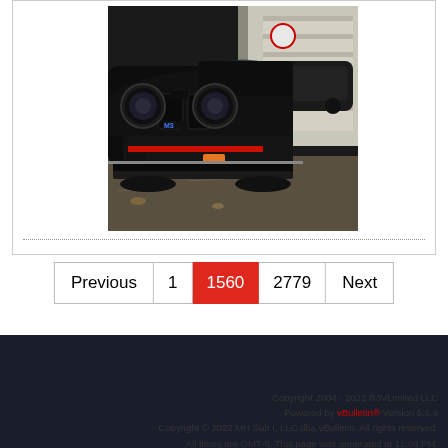[Figure (photo): Front view of a black BMW M3 (E30 generation) parked in front of a garage. The car shows the iconic M3 badge on the front grille area, round headlights, a red stripe accent on the front bumper, and an orange turn signal. Another dark BMW is visible in the background inside the garage.]
Previous  1  1560  2779  Next
- Black Red
Go to...
Copyright 2004 - 2022 R3VLimited LLC
Powered by vBulletin® Version 5.6.9
Copyright © 2022 MH Sub I, LLC dba vBulletin. All rights reserved.
All times are GMT-8. This page was generated at 11:09 PM.